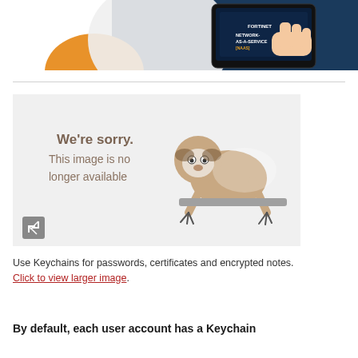[Figure (photo): Partial banner image showing a tablet device displaying 'Network-as-a-Service (NaaS)' with a hand holding it, with orange and blue decorative shapes on the left, cropped at top.]
[Figure (illustration): Gray placeholder box with text 'We're sorry. This image is no longer available' and an illustration of a cartoon sloth hanging from a bar, plus an expand/fullscreen icon button in the bottom left corner.]
Use Keychains for passwords, certificates and encrypted notes. Click to view larger image.
By default, each user account has a Keychain